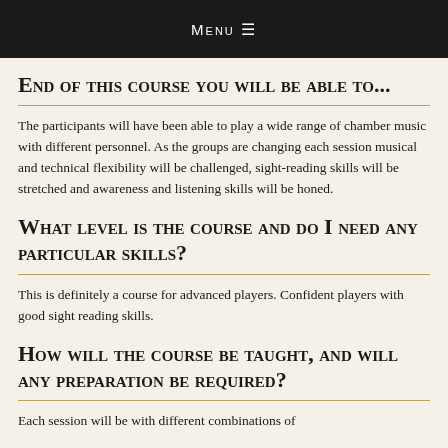Menu ☰
END OF THIS COURSE YOU WILL BE ABLE TO...
The participants will have been able to play a wide range of chamber music with different personnel. As the groups are changing each session musical and technical flexibility will be challenged, sight-reading skills will be stretched and awareness and listening skills will be honed.
What level is the course and do I need any particular skills?
This is definitely a course for advanced players. Confident players with good sight reading skills.
How will the course be taught, and will any preparation be required?
Each session will be with different combinations of...